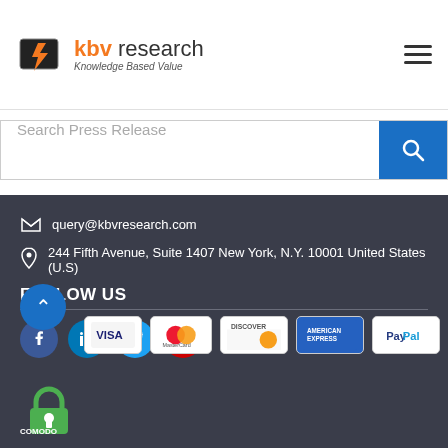[Figure (logo): KBV Research logo with orange lightning bolt icon and text 'kbv research' and tagline 'Knowledge Based Value']
[Figure (other): Hamburger menu icon (three horizontal lines)]
Search Press Release
query@kbvresearch.com
244 Fifth Avenue, Suite 1407 New York, N.Y. 10001 United States (U.S)
FOLLOW US
[Figure (other): Social media icons: Facebook, LinkedIn, Twitter, YouTube]
[Figure (other): Payment method logos: Visa (partially hidden), MasterCard, Discover, American Express, PayPal]
[Figure (other): Comodo security badge at bottom]